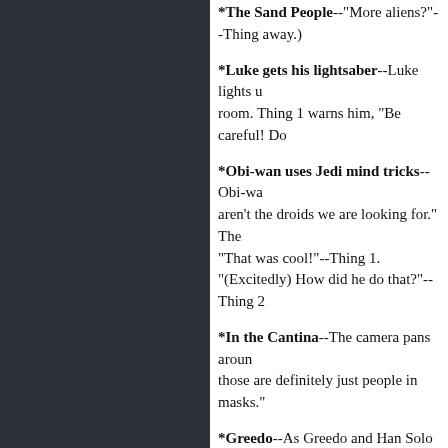*The Sand People--"More aliens?"--Thing [cut off] away.)
*Luke gets his lightsaber--Luke lights u[p the] room. Thing 1 warns him, "Be careful! Do[...]"
*Obi-wan uses Jedi mind tricks--Obi-wa[n says] aren't the droids we are looking for." The [...] "That was cool!"--Thing 1. "(Excitedly) How did he do that?"--Thing [2]
*In the Cantina--The camera pans aroun[d and] those are definitely just people in masks.['"]
*Greedo--As Greedo and Han Solo excha[nge...] talks really funny."
[NOTE TO GEORGE LUCAS: Look, Geo[...] Why won't you let us watch it? The chang[es are] enough, but the added scene with Jabba [...] unnecessary; b) is actually harmful to the [...] looks terrible--as if some 6th grader was t[...] Photoshop. It's too bad I couldn't show m[...]]
*Jabba the Hut--Thing 1 has a hard time[...]